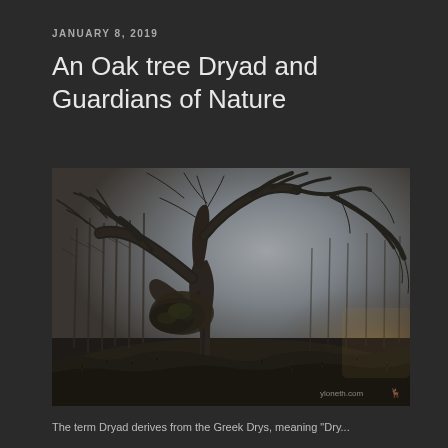JANUARY 8, 2019
An Oak tree Dryad and Guardians of Nature
[Figure (photo): A large ancient oak tree photographed from below in a woodland setting. The tree has a gnarled, mossy trunk with spreading bare winter branches against a pale grey sky. Surrounding smaller bare trees fill the background. The image has a dark, moody atmosphere. A watermark 'yloneth.com' with a small deer/stag icon appears in the lower right corner.]
The term Dryad derives from the Greek Drys, meaning "Dry..."